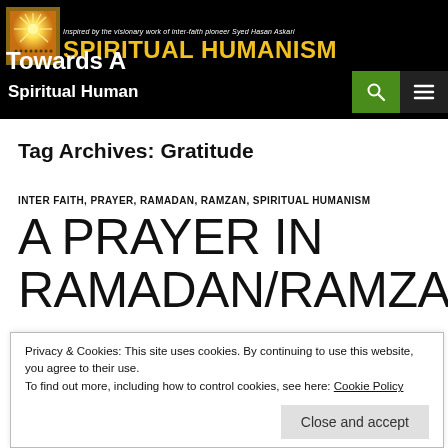Towards A…… SPIRITUAL HUMANISM — Inspired by the visionary work of inter-faith pioneer Syed Hasan Askari
Spiritual Human
Tag Archives: Gratitude
INTER FAITH, PRAYER, RAMADAN, RAMZAN, SPIRITUAL HUMANISM
A PRAYER IN RAMADAN/RAMZAN
Privacy & Cookies: This site uses cookies. By continuing to use this website, you agree to their use. To find out more, including how to control cookies, see here: Cookie Policy
Close and accept